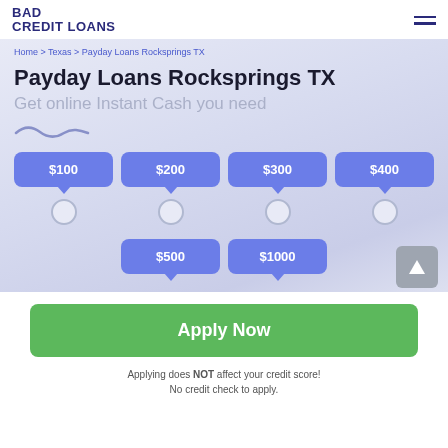BAD CREDIT LOANS
Home > Texas > Payday Loans Rocksprings TX
Payday Loans Rocksprings TX
Get online Instant Cash you need
[Figure (infographic): Loan amount selector with speech-bubble style buttons showing $100, $200, $300, $400, $500, $1000 with radio buttons below each]
Apply Now
Applying does NOT affect your credit score! No credit check to apply.